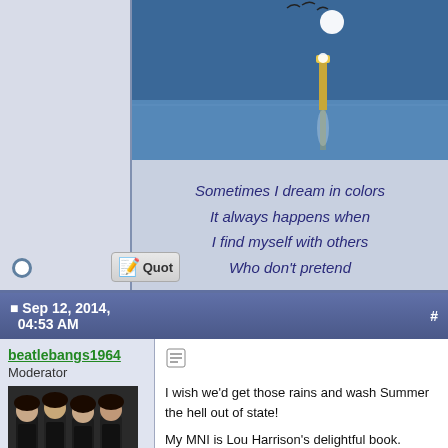[Figure (photo): Night scene over water with moon and lighthouse reflection, blue tones]
Sometimes I dream in colors
It always happens when
I find myself with others
Who don't pretend
Sep 12, 2014, 04:53 AM   #
beatlebangs1964
Moderator
[Figure (photo): Avatar showing The Beatles group photo]
Join Date: May 23, 2001
Posts: 37,585
* Premium Member
I wish we'd get those rains and wash Summer the hell out of state!

My MNI is Lou Harrison's delightful book.

With a love like that, you know you should be glad, yeah, yeah, yeah!-- Beatles, 1963

If I seem to act unkind, it's only me, it's not my mind